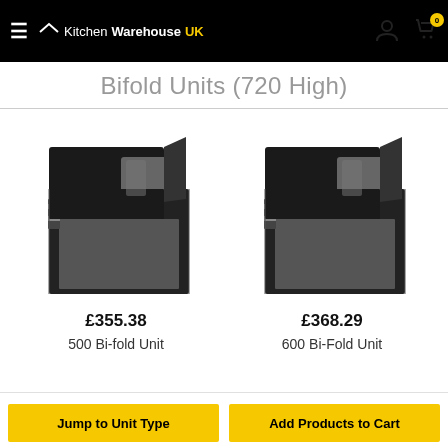KitchenWarehouseUK
Bifold Units (720 High)
[Figure (photo): 500 Bi-fold Unit – black kitchen cabinet with bifold door partially open, showing interior]
£355.38
500 Bi-fold Unit
[Figure (photo): 600 Bi-Fold Unit – black kitchen cabinet with bifold door partially open, showing interior]
£368.29
600 Bi-Fold Unit
Jump to Unit Type
Add Products to Cart